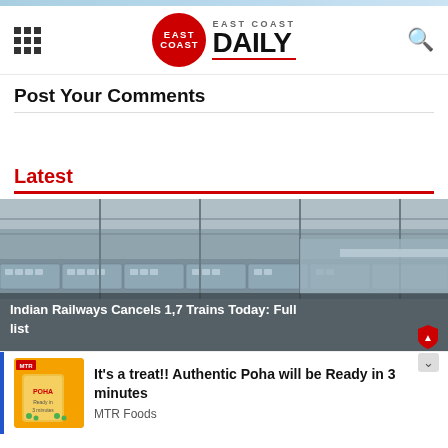East Coast Daily
Post Your Comments
Latest
[Figure (photo): Railway station aerial view with trains and tracks, with overlay text: Indian Railways Cancels 1,7 Trains Today: Full list]
[Figure (advertisement): MTR Foods ad - It's a treat!! Authentic Poha will be Ready in 3 minutes - MTR Foods]